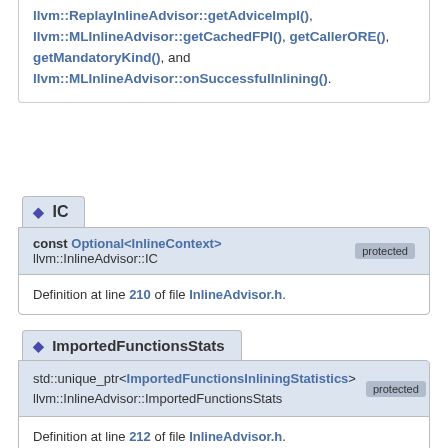llvm::ReplayInlineAdvisor::getAdviceImpl(), llvm::MLInlineAdvisor::getCachedFPI(), getCallerORE(), getMandatoryKind(), and llvm::MLInlineAdvisor::onSuccessfulInlining().
◆ IC
const Optional<InlineContext> llvm::InlineAdvisor::IC  protected
Definition at line 210 of file InlineAdvisor.h.
◆ ImportedFunctionsStats
std::unique_ptr<ImportedFunctionsInliningStatistics> llvm::InlineAdvisor::ImportedFunctionsStats  protected
Definition at line 212 of file InlineAdvisor.h.